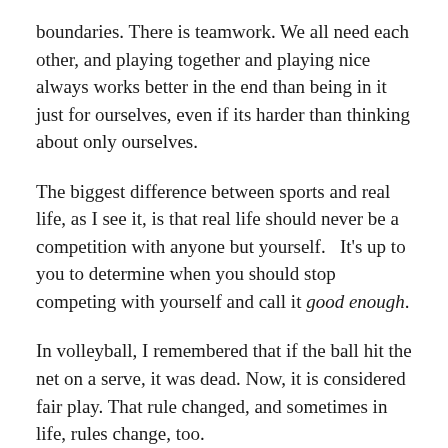boundaries. There is teamwork. We all need each other, and playing together and playing nice always works better in the end than being in it just for ourselves, even if its harder than thinking about only ourselves.
The biggest difference between sports and real life, as I see it, is that real life should never be a competition with anyone but yourself.   It’s up to you to determine when you should stop competing with yourself and call it good enough.
In volleyball, I remembered that if the ball hit the net on a serve, it was dead. Now, it is considered fair play. That rule changed, and sometimes in life, rules change, too.
Rules, however, are sometimes made–and changed–to